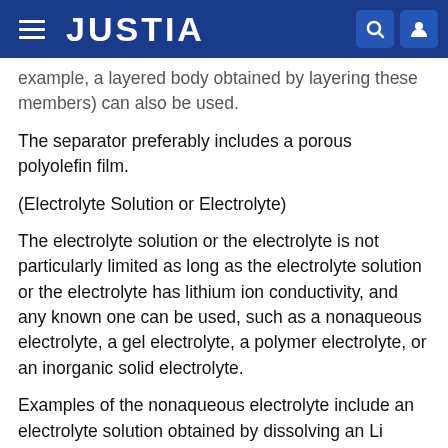JUSTIA
example, a layered body obtained by layering these members) can also be used.
The separator preferably includes a porous polyolefin film.
(Electrolyte Solution or Electrolyte)
The electrolyte solution or the electrolyte is not particularly limited as long as the electrolyte solution or the electrolyte has lithium ion conductivity, and any known one can be used, such as a nonaqueous electrolyte, a gel electrolyte, a polymer electrolyte, or an inorganic solid electrolyte.
Examples of the nonaqueous electrolyte include an electrolyte solution obtained by dissolving an Li electrolyte such as LiPF6, LiBF4, LiN(SO2CF3)2, or LiN(SO2CF2CF3) in a nonaqueous solvent such as a